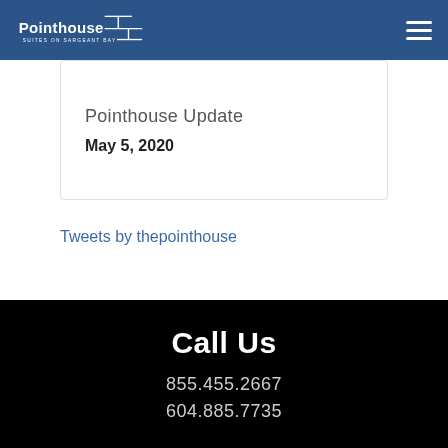Pointhouse Suites on Sargeant Bay
Pointhouse Update
May 5, 2020
Tweets by thepointhouse
Call Us
855.455.2667
604.885.7735